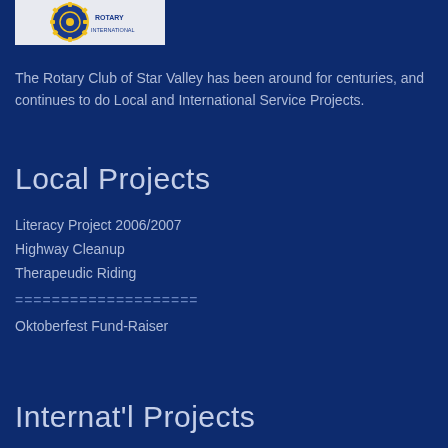[Figure (logo): Rotary International logo — partial view showing gear wheel with blue and gold colors on light background]
The Rotary Club of Star Valley has been around for centuries, and continues to do Local and International Service Projects.
Local Projects
Literacy Project 2006/2007
Highway Cleanup
Therapeudic Riding
====================
Oktoberfest Fund-Raiser
Internat'l Projects